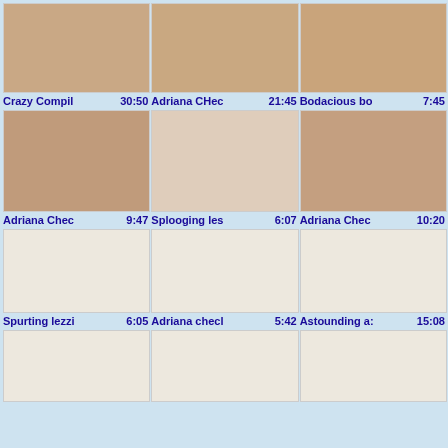[Figure (screenshot): Video thumbnail grid page showing 9+ video thumbnails with titles and durations. Row 1: 'Crazy Compil' 30:50, 'Adriana CHec' 21:45, 'Bodacious bo' 7:45. Row 2: 'Adriana Chec' 9:47, 'Splooging les' 6:07, 'Adriana Chec' 10:20. Row 3: 'Spurting lezzi' 6:05, 'Adriana checl' 5:42, 'Astounding a:' 15:08. Row 4: three blank thumbnails partially visible.]